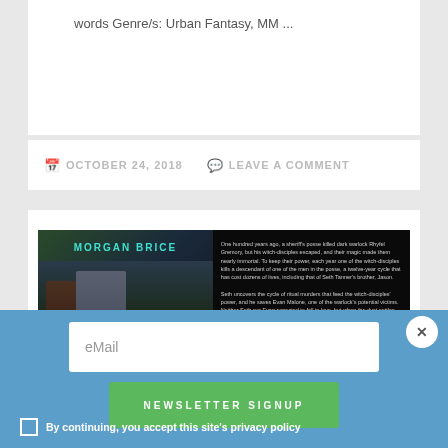words Genre/s: Urban Fantasy, MM ...
OCTOBER 24, 2018   LEAVE A COMMENT
[Figure (illustration): Book cover for Morgan Brice novel with two male figures against a dark stormy background, with descriptive text on the right side about a story involving a sheriff's posse, a dark warlock, witch-disciples, and characters Seth Tanner and Evan Malone.]
eMail
NEWSLETTER SIGNUP
By continuing, you accept this site's privacy policy